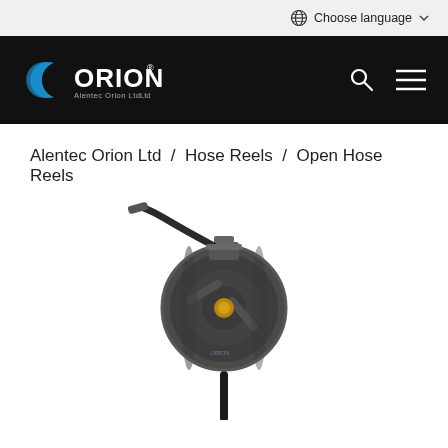Choose language
[Figure (logo): Alentec Orion Ltd logo — white text 'ORION' with stylized blue C-shape graphic on black background]
Alentec Orion Ltd / Hose Reels / Open Hose Reels
[Figure (photo): Open hose reel product photo — dark grey/black wall-mounted spring-retractable hose reel with brass fittings, hose extended upward and downward, mounted on a vertical black post]